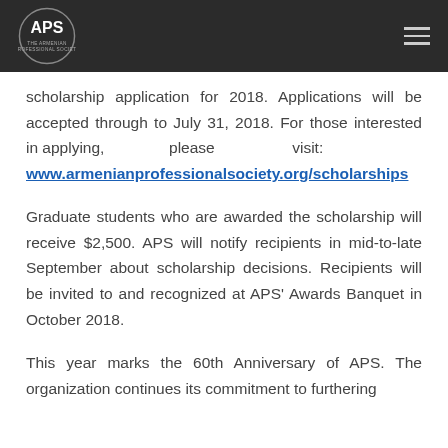APS (Armenian Professional Society) logo and navigation menu
scholarship application for 2018. Applications will be accepted through to July 31, 2018. For those interested in applying, please visit: www.armenianprofessionalsociety.org/scholarships
Graduate students who are awarded the scholarship will receive $2,500. APS will notify recipients in mid-to-late September about scholarship decisions. Recipients will be invited to and recognized at APS' Awards Banquet in October 2018.
This year marks the 60th Anniversary of APS. The organization continues its commitment to furthering